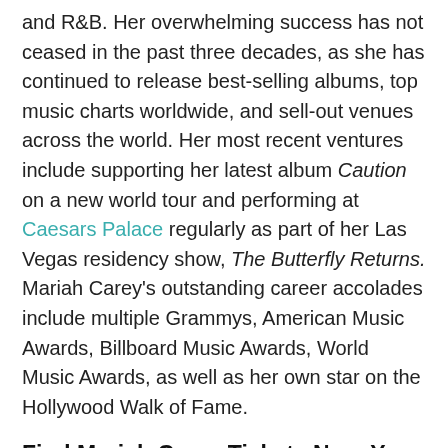and R&B. Her overwhelming success has not ceased in the past three decades, as she has continued to release best-selling albums, top music charts worldwide, and sell-out venues across the world. Her most recent ventures include supporting her latest album Caution on a new world tour and performing at Caesars Palace regularly as part of her Las Vegas residency show, The Butterfly Returns. Mariah Carey's outstanding career accolades include multiple Grammys, American Music Awards, Billboard Music Awards, World Music Awards, as well as her own star on the Hollywood Walk of Fame.
Find Mariah Carey Tickets Near You
Our ticket pages are sorted into two sections. At the top, you will see Mariah Carey tickets near your current location (or whichever location your device is set to), followed by all general Mariah Carey tour dates. If you'd like to search by a different location, you can adjust it at the top of the screen.
Mariah Carey Floor Seats